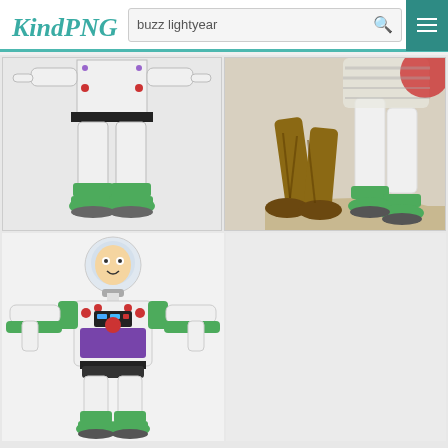KindPNG - buzz lightyear search results
[Figure (illustration): Buzz Lightyear lower body/feet view from behind, white spacesuit with green boots]
[Figure (illustration): Scene from Toy Story showing character legs/feet, possibly Buzz and Woody, sandy ground]
[Figure (illustration): Full body Buzz Lightyear character, white spacesuit with green and purple details, arms spread wide]